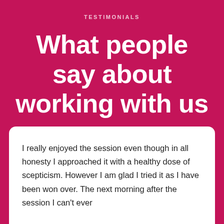TESTIMONIALS
What people say about working with us
I really enjoyed the session even though in all honesty I approached it with a healthy dose of scepticism. However I am glad I tried it as I have been won over. The next morning after the session I can't ever